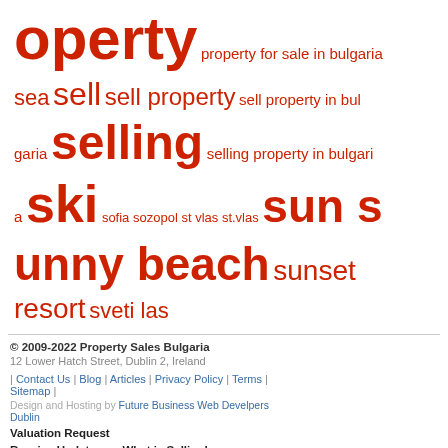[Figure (other): Word cloud with property-related terms in red, featuring words like 'operty', 'property for sale in bulgaria', 'sea', 'sell', 'sell property', 'sell property in bulgaria', 'selling', 'selling property in bulgaria', 'ski', 'sofia', 'sozopol', 'st vlas', 'st.vlas', 'sun sunny beach', 'sunset resort', 'sveti las']
© 2009-2022 Property Sales Bulgaria
12 Lower Hatch Street, Dublin 2, Ireland
| Contact Us | Blog | Articles | Privacy Policy | Terms | Sitemap |
Design and Hosting by Future Business Web Develpers Dublin
Valuation Request
Receive Updates on What is Selling!
Register Your Property For Free
Guides to Selling your Property in Bulgaria
Properties Recently Sold
Appreciating Assets in the Media